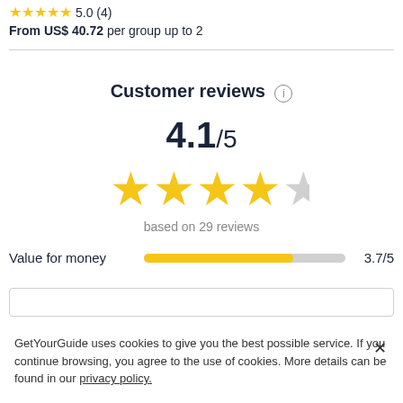5.0 (4)  From US$ 40.72 per group up to 2
Customer reviews
4.1/5
based on 29 reviews
Value for money  3.7/5
GetYourGuide uses cookies to give you the best possible service. If you continue browsing, you agree to the use of cookies. More details can be found in our privacy policy.